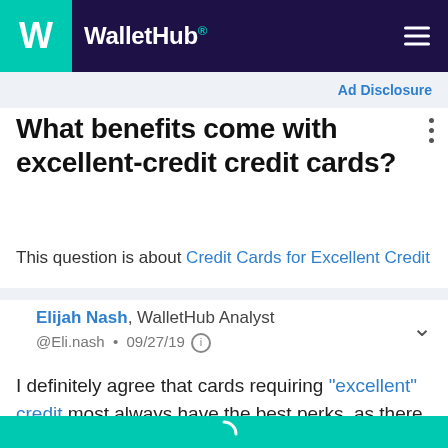WalletHub
Ad Disclosure
What benefits come with excellent-credit credit cards?
This question is about Credit Cards for Excellent Credit
Elijah Nash, WalletHub Analyst @Eli.nash • 09/27/19
I definitely agree that cards requiring "excellent" credit most always have the best perks, as there is less liability involved. As someone who had credit problems in the past, I do not recall any of the "so-so' cards having lucrative